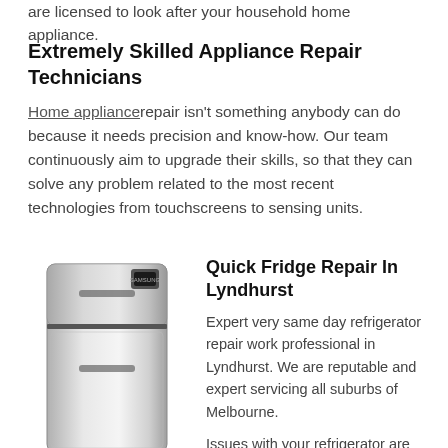are licensed to look after your household home appliance.
Extremely Skilled Appliance Repair Technicians
Home appliance repair isn't something anybody can do because it needs precision and know-how. Our team continuously aim to upgrade their skills, so that they can solve any problem related to the most recent technologies from touchscreens to sensing units.
[Figure (photo): A stainless steel Samsung top-freezer refrigerator]
Quick Fridge Repair In Lyndhurst
Expert very same day refrigerator repair work professional in Lyndhurst. We are reputable and expert servicing all suburbs of Melbourne.
Issues with your refrigerator are not always simple to deal with, especially if you effectively trained to deal with